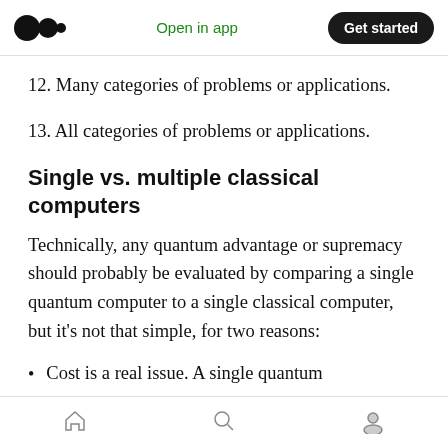Open in app | Get started
12. Many categories of problems or applications.
13. All categories of problems or applications.
Single vs. multiple classical computers
Technically, any quantum advantage or supremacy should probably be evaluated by comparing a single quantum computer to a single classical computer, but it’s not that simple, for two reasons:
Cost is a real issue. A single quantum
Home | Search | Profile